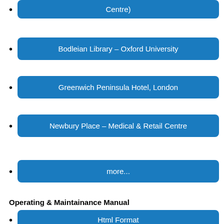Centre)
Bodleian Library – Oxford University
Greenwich Peninsula Hotel, London
Newbury Place – Medical & Retail Centre
more...
Operating & Maintainance Manual
Html Format
PDF Format